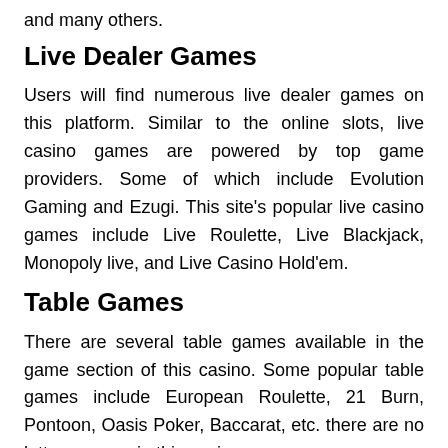and many others.
Live Dealer Games
Users will find numerous live dealer games on this platform. Similar to the online slots, live casino games are powered by top game providers. Some of which include Evolution Gaming and Ezugi. This site’s popular live casino games include Live Roulette, Live Blackjack, Monopoly live, and Live Casino Hold’em.
Table Games
There are several table games available in the game section of this casino. Some popular table games include European Roulette, 21 Burn, Pontoon, Oasis Poker, Baccarat, etc. there are no lottery games in this casino.